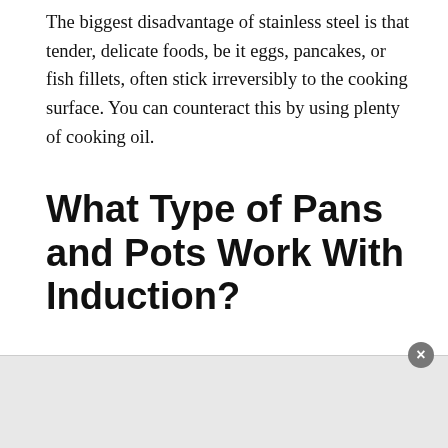The biggest disadvantage of stainless steel is that tender, delicate foods, be it eggs, pancakes, or fish fillets, often stick irreversibly to the cooking surface. You can counteract this by using plenty of cooking oil.
What Type of Pans and Pots Work With Induction?
While coil-top cooktops transfer heat to your